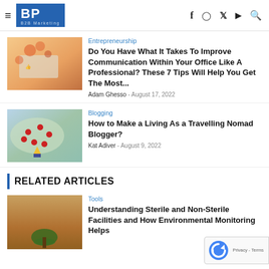BP B2B Marketing — navigation header with social icons
Entrepreneurship
Do You Have What It Takes To Improve Communication Within Your Office Like A Professional? These 7 Tips Will Help You Get The Most...
Adam Ghesso - August 17, 2022
Blogging
How to Make a Living As a Travelling Nomad Blogger?
Kat Adiver - August 9, 2022
RELATED ARTICLES
Tools
Understanding Sterile and Non-Sterile Facilities and How Environmental Monitoring Helps